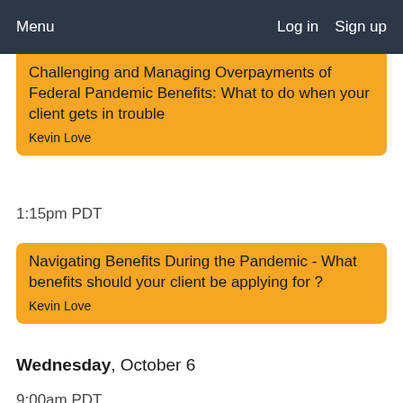Menu   Log in   Sign up
Challenging and Managing Overpayments of Federal Pandemic Benefits: What to do when your client gets in trouble
Kevin Love
1:15pm PDT
Navigating Benefits During the Pandemic - What benefits should your client be applying for ?
Kevin Love
Wednesday, October 6
9:00am PDT